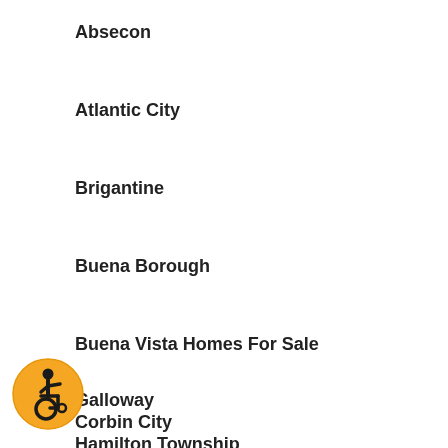Absecon
Atlantic City
Brigantine
Buena Borough
Buena Vista Homes For Sale
Corbin City
Egg Harbor City
Egg Harbor Township
Estell Manor
Folsom
Galloway
Hamilton Township
[Figure (illustration): Accessibility icon: orange circle with black wheelchair user symbol]